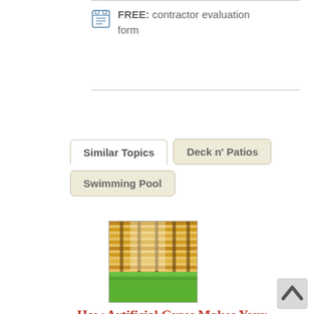FREE: contractor evaluation form
Similar Topics
Deck n' Patios
Swimming Pool
[Figure (photo): Photo of wooden fence/blinds with green grass below, warm sunlit tones]
How Artificial Grass Makes Your House Look Cleaner
Since it doesn't require any